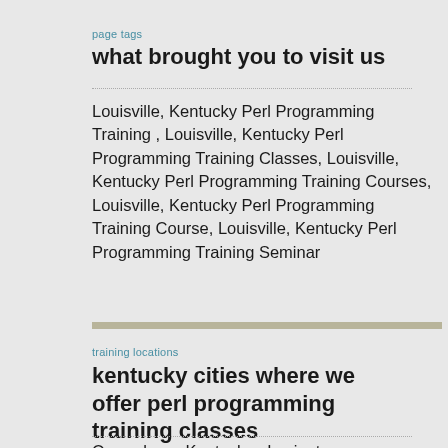page tags
what brought you to visit us
Louisville, Kentucky Perl Programming Training , Louisville, Kentucky Perl Programming Training Classes, Louisville, Kentucky Perl Programming Training Courses, Louisville, Kentucky Perl Programming Training Course, Louisville, Kentucky Perl Programming Training Seminar
training locations
kentucky cities where we offer perl programming training classes
Owensboro, Kentucky , Lexington